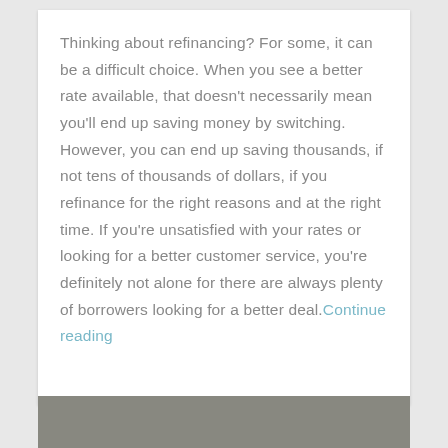Thinking about refinancing? For some, it can be a difficult choice. When you see a better rate available, that doesn't necessarily mean you'll end up saving money by switching.  However, you can end up saving thousands, if not tens of thousands of dollars, if you refinance for the right reasons and at the right time. If you're unsatisfied with your rates or looking for a better customer service, you're definitely not alone for there are always plenty of borrowers looking for a better deal. Continue reading
[Figure (photo): Partial photo visible at the bottom of the page, appears dark/grey in color]